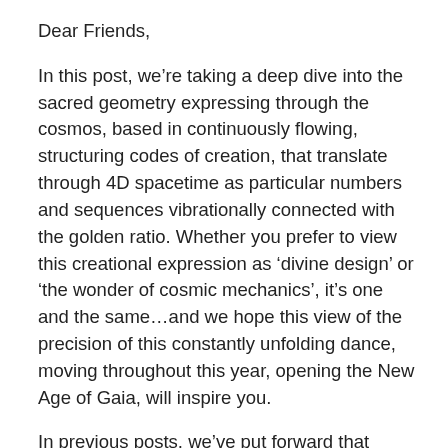Dear Friends,
In this post, we’re taking a deep dive into the sacred geometry expressing through the cosmos, based in continuously flowing, structuring codes of creation, that translate through 4D spacetime as particular numbers and sequences vibrationally connected with the golden ratio. Whether you prefer to view this creational expression as ‘divine design’ or ‘the wonder of cosmic mechanics’, it’s one and the same…and we hope this view of the precision of this constantly unfolding dance, moving throughout this year, opening the New Age of Gaia, will inspire you.
In previous posts, we’ve put forward that universal creation energy flows into our local galaxy through the Galactic Central Sun in a life-coding format that translates into our earthly awareness via the mirror numbers 27-72.